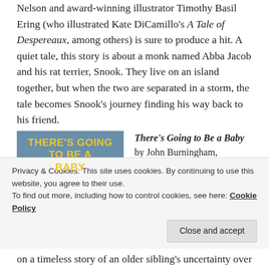Nelson and award-winning illustrator Timothy Basil Ering (who illustrated Kate DiCamillo's A Tale of Despereaux, among others) is sure to produce a hit. A quiet tale, this story is about a monk named Abba Jacob and his rat terrier, Snook. They live on an island together, but when the two are separated in a storm, the tale becomes Snook's journey finding his way back to his friend.
[Figure (illustration): Book cover of 'There's Going to Be a Baby' showing yellow title text on blue background with illustration of a woman leaning over a baby]
There's Going to Be a Baby by John Burningham, illustrated by Helen Oxenbury 9780763649074, $16.99, Pub.
Privacy & Cookies: This site uses cookies. By continuing to use this website, you agree to their use. To find out more, including how to control cookies, see here: Cookie Policy
Close and accept
on a timeless story of an older sibling's uncertainty over a